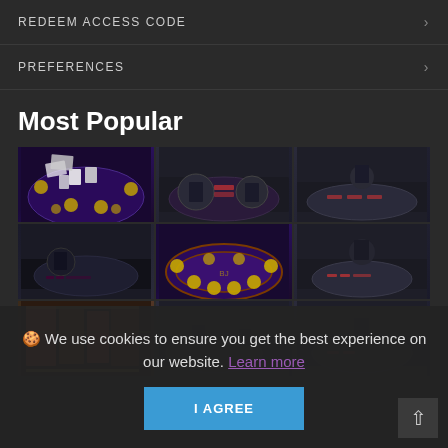REDEEM ACCESS CODE
PREFERENCES
Most Popular
[Figure (screenshot): 3x3 grid of video thumbnails showing casino card game tutorials with people at blackjack/poker tables. Top row: casino table close-up, two men at a table, man standing at table. Middle row: man at table, casino table with yellow dots/chips, man at table. Bottom row: stacked casino chips, man at table, man at table.]
🍪 We use cookies to ensure you get the best experience on our website. Learn more
I AGREE